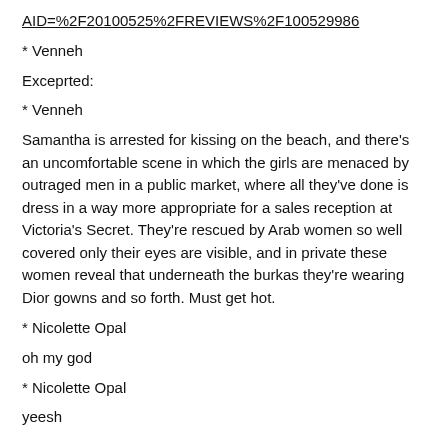AID=%2F20100525%2FREVIEWS%2F100529986
* Venneh
Exceprted:
* Venneh
Samantha is arrested for kissing on the beach, and there's an uncomfortable scene in which the girls are menaced by outraged men in a public market, where all they've done is dress in a way more appropriate for a sales reception at Victoria's Secret. They're rescued by Arab women so well covered only their eyes are visible, and in private these women reveal that underneath the burkas they're wearing Dior gowns and so forth. Must get hot.
* Nicolette Opal
oh my god
* Nicolette Opal
yeesh